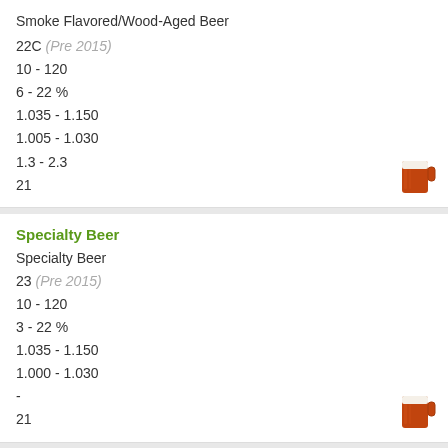Smoke Flavored/Wood-Aged Beer
22C (Pre 2015)
10 - 120
6 - 22 %
1.035 - 1.150
1.005 - 1.030
1.3 - 2.3
21
Specialty Beer
Specialty Beer
23 (Pre 2015)
10 - 120
3 - 22 %
1.035 - 1.150
1.000 - 1.030
-
21
Specialty IPA: Rye IPA
IPA
21B